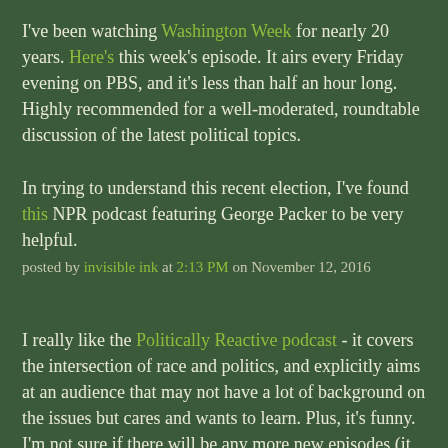I've been watching Washington Week for nearly 20 years. Here's this week's episode. It airs every Friday evening on PBS, and it's less than half an hour long. Highly recommended for a well-moderated, roundtable discussion of the latest political topics.

In trying to understand this recent election, I've found this NPR podcast featuring George Packer to be very helpful.
posted by invisible ink at 2:13 PM on November 12, 2016
I really like the Politically Reactive podcast - it covers the intersection of race and politics, and explicitly aims at an audience that may not have a lot of background on the issues but cares and wants to learn. Plus, it's funny. I'm not sure if there will be any more new episodes (it was timed for the campaign), but the back catalogue is there.
posted by une_heure_pleine at 2:40 PM on November 12, 2016